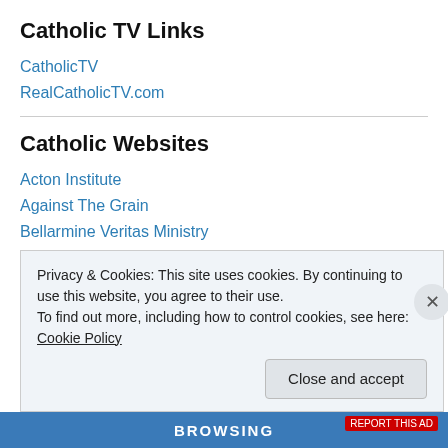Catholic TV Links
CatholicTV
RealCatholicTV.com
Catholic Websites
Acton Institute
Against The Grain
Bellarmine Veritas Ministry
Black Catholics for Life
C-FAM
Privacy & Cookies: This site uses cookies. By continuing to use this website, you agree to their use.
To find out more, including how to control cookies, see here: Cookie Policy
Close and accept